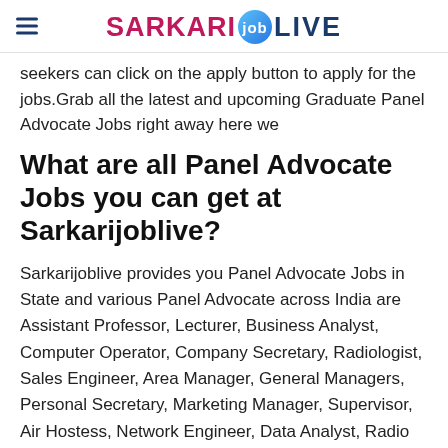SARKARI job LIVE
seekers can click on the apply button to apply for the jobs.Grab all the latest and upcoming Graduate Panel Advocate Jobs right away here we
What are all Panel Advocate Jobs you can get at Sarkarijoblive?
Sarkarijoblive provides you Panel Advocate Jobs in State and various Panel Advocate across India are Assistant Professor, Lecturer, Business Analyst, Computer Operator, Company Secretary, Radiologist, Sales Engineer, Area Manager, General Managers, Personal Secretary, Marketing Manager, Supervisor, Air Hostess, Network Engineer, Data Analyst, Radio Jockey, Legal Manager, Hospital Pharmacist, Clerk, Medical Lab Technician, Security Officer, Computer Teacher, Electrical Engineer